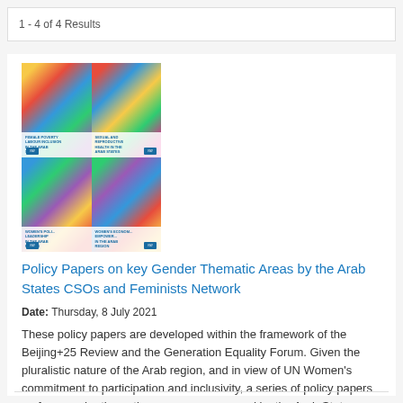1 - 4 of 4 Results
[Figure (photo): Thumbnail image showing four policy paper covers with colorful geometric/origami designs in red, blue, yellow, and green, arranged in a 2x2 grid]
Policy Papers on key Gender Thematic Areas by the Arab States CSOs and Feminists Network
Date: Thursday, 8 July 2021
These policy papers are developed within the framework of the Beijing+25 Review and the Generation Equality Forum. Given the pluralistic nature of the Arab region, and in view of UN Women's commitment to participation and inclusivity, a series of policy papers on four gender thematic areas were prepared by the Arab States CSOs and Feminists Network to amplify the voice of civil society and feminist organizations and push forward the gender equality agenda.